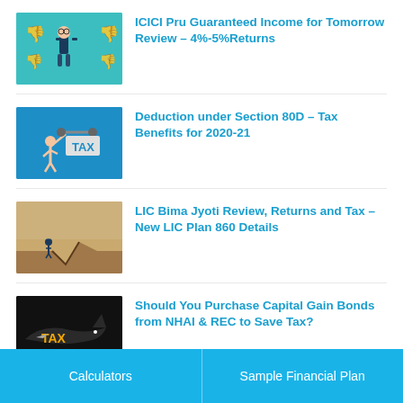[Figure (illustration): Article thumbnail: cartoon business person with thumbs down icons on teal background]
ICICI Pru Guaranteed Income for Tomorrow Review – 4%-5%Returns
[Figure (illustration): Article thumbnail: person lifting TAX barbell weight on blue background]
Deduction under Section 80D – Tax Benefits for 2020-21
[Figure (illustration): Article thumbnail: person standing at edge of crack/chasm on sandy background]
LIC Bima Jyoti Review, Returns and Tax – New LIC Plan 860 Details
[Figure (illustration): Article thumbnail: shark with TAX text on dark background]
Should You Purchase Capital Gain Bonds from NHAI & REC to Save Tax?
[Figure (illustration): Partial article thumbnail at bottom, teal/blue]
Partially visible article title
Calculators | Sample Financial Plan